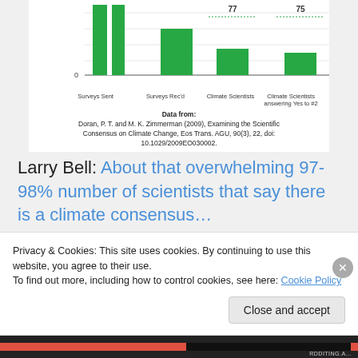[Figure (bar-chart): Partial bar chart showing survey data with bars for Surveys Sent, Surveys Rec'd, Climate Scientists (77), and Climate Scientists answering Yes to #2 (75). Green bars visible.]
Data from: Doran, P. T. and M. K. Zimmerman (2009), Examining the Scientific Consensus on Climate Change, Eos Trans. AGU, 90(3), 22, doi: 10.1029/2009EO030002.
Larry Bell: About that overwhelming 97-98% number of scientists that say there is a climate consensus…
It gets even funnier when you look at the comments sent back by the Earth Scientists.
What else did the '97% of scientists' say?
Privacy & Cookies: This site uses cookies. By continuing to use this website, you agree to their use.
To find out more, including how to control cookies, see here: Cookie Policy